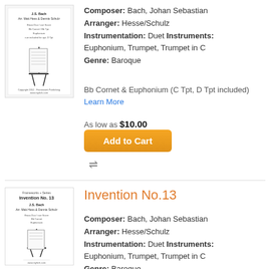[Figure (illustration): Sheet music cover for Bach Invention arranged by Hesse/Schulz, top product]
Composer: Bach, Johan Sebastian
Arranger: Hesse/Schulz
Instrumentation: Duet Instruments: Euphonium, Trumpet, Trumpet in C
Genre: Baroque
Bb Cornet & Euphonium (C Tpt, D Tpt included) Learn More
As low as $10.00
Add to Cart
[Figure (illustration): Sheet music cover for Bach Invention No.13 arranged by Hesse/Schulz, bottom product]
Invention No.13
Composer: Bach, Johan Sebastian
Arranger: Hesse/Schulz
Instrumentation: Duet Instruments: Euphonium, Trumpet, Trumpet in C
Genre: Baroque